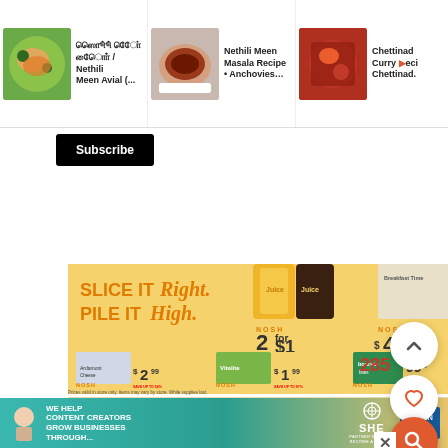[Figure (screenshot): Top bar with three recipe article cards: Tamil text / Nethili Meen Avial (...), Nethili Meen Masala Recipe • Anchovies..., Chettinad Curry Recipe Chettinad. Each has a food thumbnail image.]
Subscribe
[Figure (screenshot): Grocery store flyer ad with yellow background. Header: SLICE IT Right. PILE IT High. Products shown: Crafty Fruit Company Fresh Pressed Squeezed Juice NOSH 2 for $1 (save up to 63%), Angyu Organic Chicken Mini Loins NOSH $4.49 (save up to 44%), Ardamont Cheese 7oz NOSH $2.99 (save up to 54%), Stella Plant Based Cheese Snacks NOSH $1.99 (save up to 87%), Boursin or The Laughing Cow Cheese Snacks NOSH 99¢ (save up to 84%). Footer: Prices valid in store only. Items may vary by store. While supplies last.]
[Figure (screenshot): Meat promotional ad strip with tan/kraft background. Text: IT'S MEAT! Let's Eat! Shows various meat product images including salmon with ASC badge.]
[Figure (screenshot): Footer advertisement: We help content creators grow businesses through... SHE Media Partner Network - Become a Member. Learn More button.]